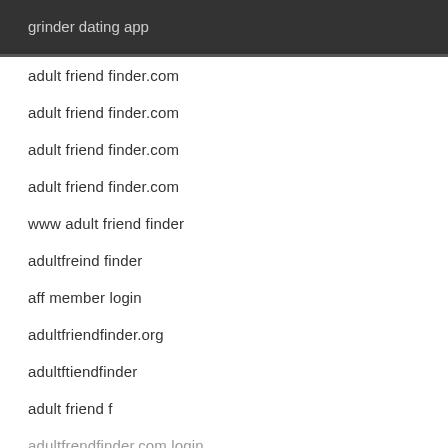grinder dating app
adult friend finder.com
adult friend finder.com
adult friend finder.com
adult friend finder.com
www adult friend finder
adultfreind finder
aff member login
adultfriendfinder.org
adultftiendfinder
adult friend f
adultfrendfinder.com login